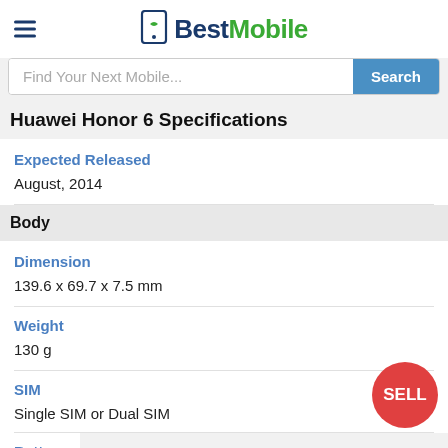[Figure (logo): BestMobile logo with phone icon, hamburger menu icon on left]
Find Your Next Mobile...
Huawei Honor 6 Specifications
Expected Released
August, 2014
Body
Dimension
139.6 x 69.7 x 7.5 mm
Weight
130 g
SIM
Single SIM or Dual SIM
Battery